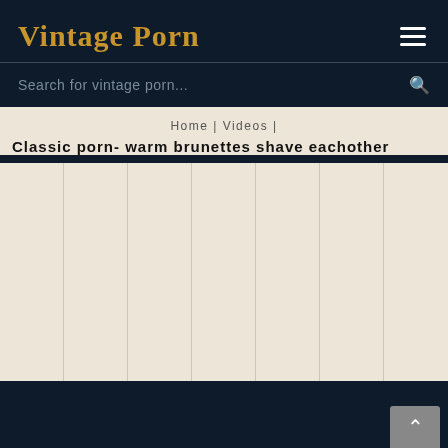Vintage Porn
Search for vintage porn...
Home | Videos |
Classic porn- warm brunettes shave eachother
[Figure (other): Grid of 7 vertical columns with beige/tan background, empty content area]
Back to top button